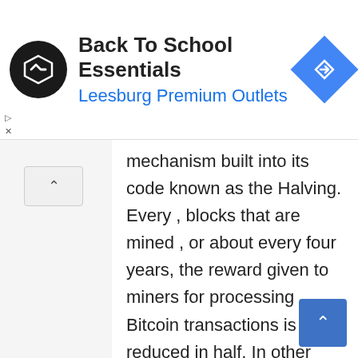[Figure (screenshot): Ad banner: Back To School Essentials at Leesburg Premium Outlets with logo and navigation icon]
mechanism built into its code known as the Halving. Every , blocks that are mined , or about every four years, the reward given to miners for processing Bitcoin transactions is reduced in half. In other words, built into Bitcoin is a synthetic form of inflation because a reward of Bitcoin given to a miner adds new Bitcoin into circulation.